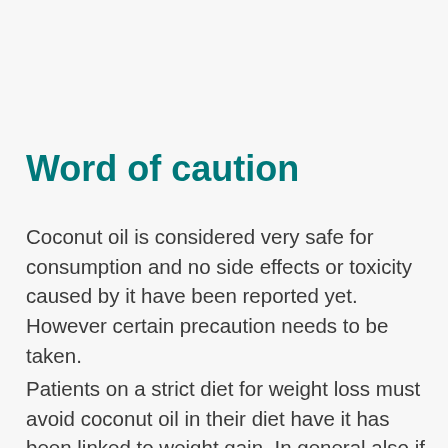Word of caution
Coconut oil is considered very safe for consumption and no side effects or toxicity caused by it have been reported yet. However certain precaution needs to be taken.
Patients on a strict diet for weight loss must avoid coconut oil in their diet have it has been linked to weight gain. In general also if